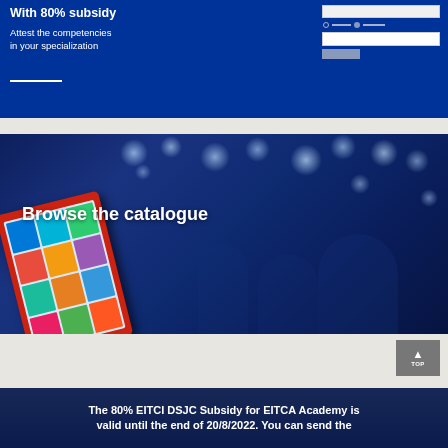With 80% subsidy
Attest the competencies in your specialization
[Figure (photo): Blue banner section with form UI widgets on the right side showing text input fields, radio buttons, and a submit button]
[Figure (photo): Browse the catalogue - photo of a red tablet device with colorful app tiles on screen, set against a dark blue bokeh background with blurred conference/event lights and people]
The 80% EITCI DSJC Subsidy for EITCA Academy is valid until the end of 20/8/2022. You can send the